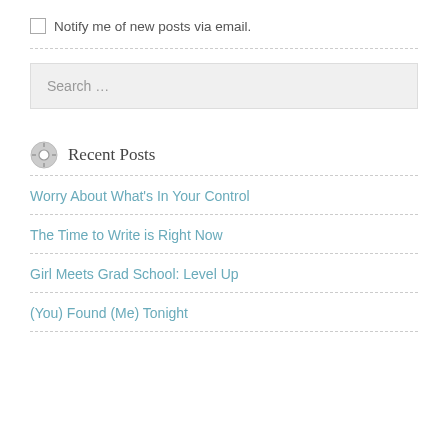Notify me of new posts via email.
Search …
Recent Posts
Worry About What's In Your Control
The Time to Write is Right Now
Girl Meets Grad School: Level Up
(You) Found (Me) Tonight